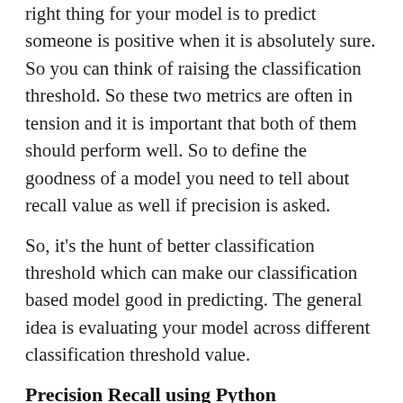right thing for your model is to predict someone is positive when it is absolutely sure. So you can think of raising the classification threshold. So these two metrics are often in tension and it is important that both of them should perform well. So to define the goodness of a model you need to tell about recall value as well if precision is asked.
So, it's the hunt of better classification threshold which can make our classification based model good in predicting. The general idea is evaluating your model across different classification threshold value.
Precision Recall using Python
[Figure (screenshot): Code snippet showing Python code lines 1 and 2 (and partial line 3). Line 1: # pr curve for logistic regression model. Line 2: from sklearn.datasets import make_classif. Line 3 (partial): from sklearn.linear_model import logisti]